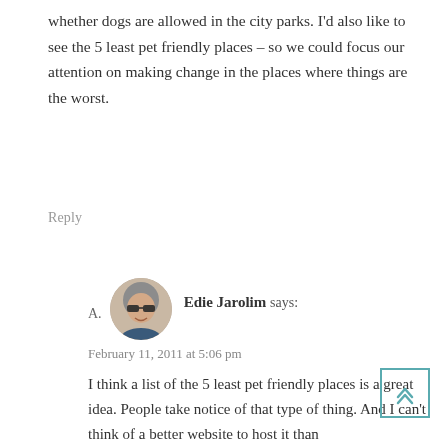whether dogs are allowed in the city parks. I'd also like to see the 5 least pet friendly places – so we could focus our attention on making change in the places where things are the worst.
Reply
A.  Edie Jarolim says:
February 11, 2011 at 5:06 pm
I think a list of the 5 least pet friendly places is a great idea. People take notice of that type of thing. And I can't think of a better website to host it than GoPetFriendly.com....
Reply